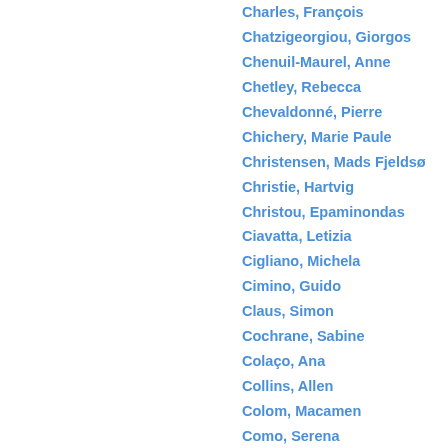Charles, François
Chatzigeorgiou, Giorgos
Chenuil-Maurel, Anne
Chetley, Rebecca
Chevaldonné, Pierre
Chichery, Marie Paule
Christensen, Mads Fjeldsø
Christie, Hartvig
Christou, Epaminondas
Ciavatta, Letizia
Cigliano, Michela
Cimino, Guido
Claus, Simon
Cochrane, Sabine
Colaço, Ana
Collins, Allen
Colom, Macamen
Como, Serena
Comtet, Thierry
Conides, Alexis
Connolly, Niamh
Conroy, David